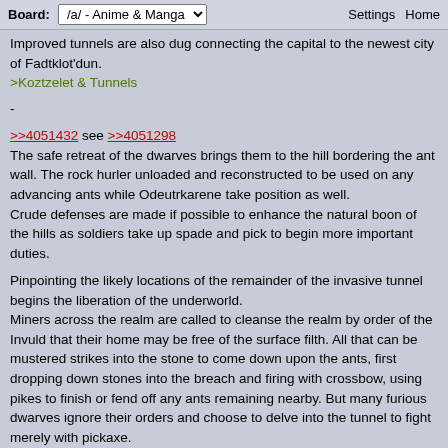Board: /a/ - Anime & Manga  Settings  Home
Improved tunnels are also dug connecting the capital to the newest city of Fadtklot'dun.
>Koztzelet & Tunnels
-
>>4051432 see >>4051298
The safe retreat of the dwarves brings them to the hill bordering the ant wall. The rock hurler unloaded and reconstructed to be used on any advancing ants while Odeutrkarene take position as well.
Crude defenses are made if possible to enhance the natural boon of the hills as soldiers take up spade and pick to begin more important duties.
Pinpointing the likely locations of the remainder of the invasive tunnel begins the liberation of the underworld.
Miners across the realm are called to cleanse the realm by order of the Invuld that their home may be free of the surface filth. All that can be mustered strikes into the stone to come down upon the ants, first dropping down stones into the breach and firing with crossbow, using pikes to finish or fend off any ants remaining nearby. But many furious dwarves ignore their orders and choose to delve into the tunnel to fight merely with pickaxe.
As this is done, orders from the capital arrive north to begin the next phase of the war.
Picked of the northern area strike into the hills disrupting the dwarven th...